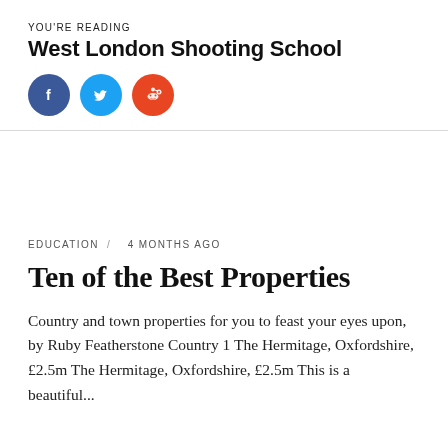YOU'RE READING
West London Shooting School
[Figure (illustration): Three social media share buttons: Facebook (dark blue circle with 'f'), Twitter (light blue circle with bird icon), Reddit (orange circle with alien icon)]
EDUCATION /   4 MONTHS AGO
Ten of the Best Properties
Country and town properties for you to feast your eyes upon, by Ruby Featherstone Country 1 The Hermitage, Oxfordshire, £2.5m The Hermitage, Oxfordshire, £2.5m This is a beautiful...